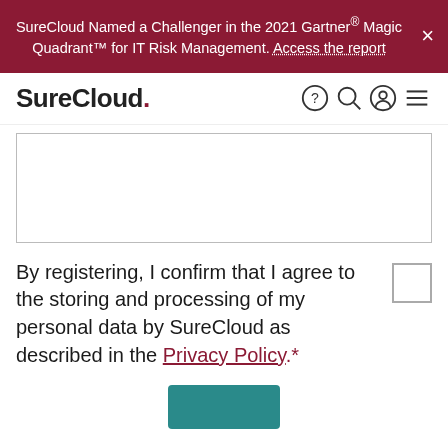SureCloud Named a Challenger in the 2021 Gartner® Magic Quadrant™ for IT Risk Management. Access the report
[Figure (logo): SureCloud logo with red period]
By registering, I confirm that I agree to the storing and processing of my personal data by SureCloud as described in the Privacy Policy.*
[Figure (other): Submit button (teal/green color)]